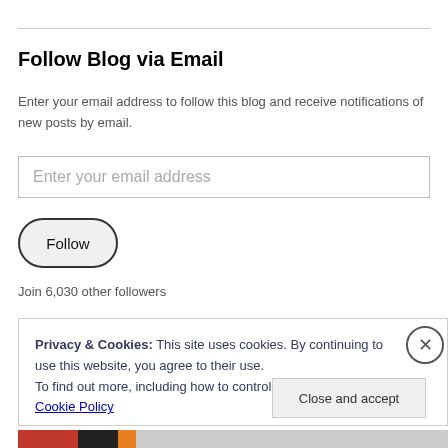Follow Blog via Email
Enter your email address to follow this blog and receive notifications of new posts by email.
Enter your email address
Follow
Join 6,030 other followers
Privacy & Cookies: This site uses cookies. By continuing to use this website, you agree to their use.
To find out more, including how to control cookies, see here: Cookie Policy
Close and accept